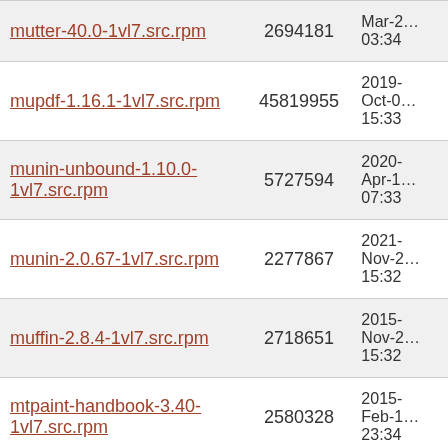| Name | Size | Date |
| --- | --- | --- |
| mutter-40.0-1vl7.src.rpm | 2694181 | Mar-2… 03:34 |
| mupdf-1.16.1-1vl7.src.rpm | 45819955 | 2019-Oct-0… 15:33 |
| munin-unbound-1.10.0-1vl7.src.rpm | 5727594 | 2020-Apr-1… 07:33 |
| munin-2.0.67-1vl7.src.rpm | 2277867 | 2021-Nov-2… 15:32 |
| muffin-2.8.4-1vl7.src.rpm | 2718651 | 2015-Nov-2… 15:32 |
| mtpaint-handbook-3.40-1vl7.src.rpm | 2580328 | 2015-Feb-1… 23:34 |
| mtpaint-3.40-1vl7.src.rpm | 609195 | 2015-Feb-1… 23:34 |
| mtools-4.0.37-1vl7.src.rpm | 560794 | 2022-Jan-1… 23:33 |